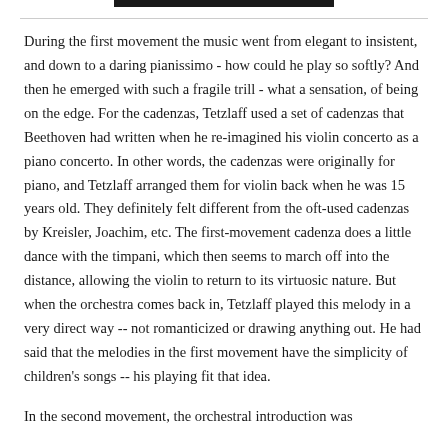During the first movement the music went from elegant to insistent, and down to a daring pianissimo - how could he play so softly? And then he emerged with such a fragile trill - what a sensation, of being on the edge. For the cadenzas, Tetzlaff used a set of cadenzas that Beethoven had written when he re-imagined his violin concerto as a piano concerto. In other words, the cadenzas were originally for piano, and Tetzlaff arranged them for violin back when he was 15 years old. They definitely felt different from the oft-used cadenzas by Kreisler, Joachim, etc. The first-movement cadenza does a little dance with the timpani, which then seems to march off into the distance, allowing the violin to return to its virtuosic nature. But when the orchestra comes back in, Tetzlaff played this melody in a very direct way -- not romanticized or drawing anything out. He had said that the melodies in the first movement have the simplicity of children's songs -- his playing fit that idea.
In the second movement, the orchestral introduction was